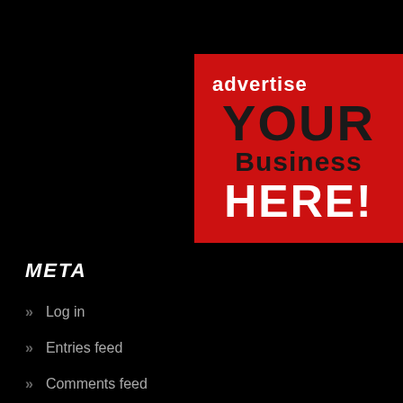[Figure (infographic): Red advertisement banner with text: 'advertise YOUR Business HERE!']
META
Log in
Entries feed
Comments feed